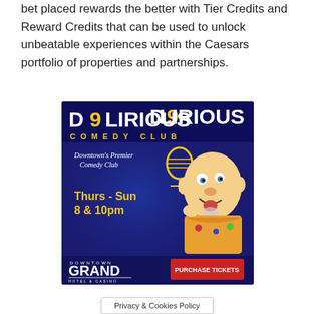bet placed rewards the better with Tier Credits and Reward Credits that can be used to unlock unbeatable experiences within the Caesars portfolio of properties and partnerships.
[Figure (illustration): Advertisement for Delirious Comedy Club at Downtown Grand Hotel & Casino. Dark blue background with large white bold text 'D9LIRIOUS' at top, yellow spaced text 'COMEDY CLUB' below. Script text 'Downtown's Premier Comedy Club' with a microphone graphic. Yellow bold text 'Thurs - Sun 8 & 10pm'. Right side shows a cartoon caricature of a bald man sticking out his tongue wearing a Hawaiian shirt. Bottom section shows 'DOWNTOWN GRAND HOTEL & CASINO' logo on left and red 'PURCHASE TICKETS' button on right.]
Privacy & Cookies Policy